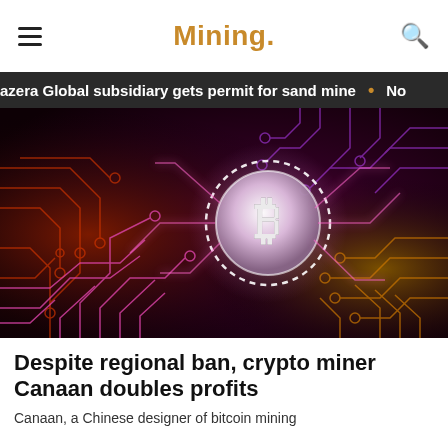Mining.
azera Global subsidiary gets permit for sand mine  •  No
[Figure (illustration): Digital illustration of a Bitcoin coin glowing with white light at center, surrounded by neon circuit board traces in red, pink, purple, and orange on a dark background.]
Despite regional ban, crypto miner Canaan doubles profits
Canaan, a Chinese designer of bitcoin mining